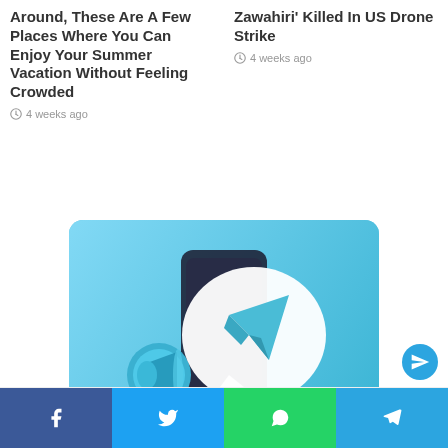Around, These Are A Few Places Where You Can Enjoy Your Summer Vacation Without Feeling Crowded
4 weeks ago
Zawahiri' Killed In US Drone Strike
4 weeks ago
[Figure (illustration): Telegram app icon with megaphone on light blue background]
[Figure (infographic): Social share bar with Facebook, Twitter, WhatsApp, and Telegram buttons]